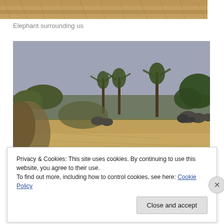[Figure (photo): Close-up top strip of dry golden grass/hay texture, cropped from a larger wildlife photo]
Elephant surrounding us
[Figure (photo): Wide landscape photo showing elephants in an African savanna scene with palm trees, dry scrubland, sandy ground, and overcast grey sky. Several elephants are visible in the middle distance.]
Privacy & Cookies: This site uses cookies. By continuing to use this website, you agree to their use.
To find out more, including how to control cookies, see here: Cookie Policy
Close and accept